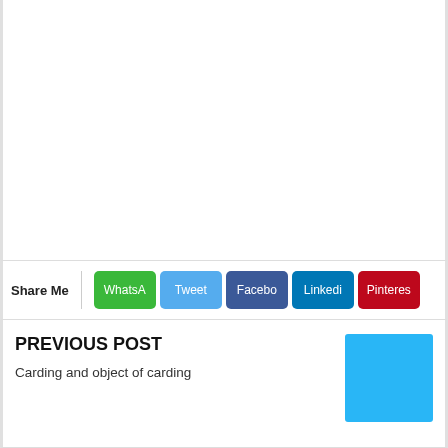[Figure (other): White blank content area at top of page]
Share Me | WhatsA | Tweet | Facebo | Linkedi | Pinteres
PREVIOUS POST
Carding and object of carding
[Figure (other): Light blue square thumbnail image placeholder]